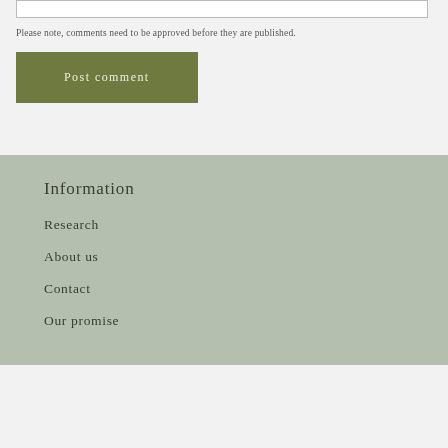Please note, comments need to be approved before they are published.
Post comment
Information
Research
About us
Contact
Our promise